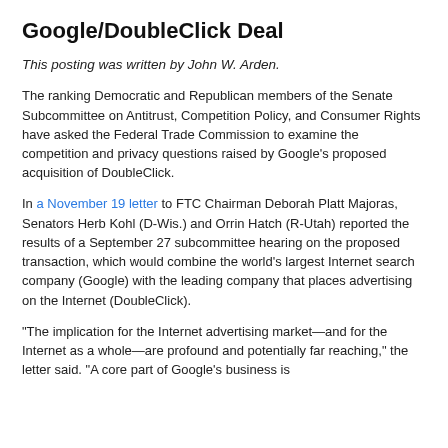Google/DoubleClick Deal
This posting was written by John W. Arden.
The ranking Democratic and Republican members of the Senate Subcommittee on Antitrust, Competition Policy, and Consumer Rights have asked the Federal Trade Commission to examine the competition and privacy questions raised by Google's proposed acquisition of DoubleClick.
In a November 19 letter to FTC Chairman Deborah Platt Majoras, Senators Herb Kohl (D-Wis.) and Orrin Hatch (R-Utah) reported the results of a September 27 subcommittee hearing on the proposed transaction, which would combine the world's largest Internet search company (Google) with the leading company that places advertising on the Internet (DoubleClick).
"The implication for the Internet advertising market—and for the Internet as a whole—are profound and potentially far reaching," the letter said. "A core part of Google's business is